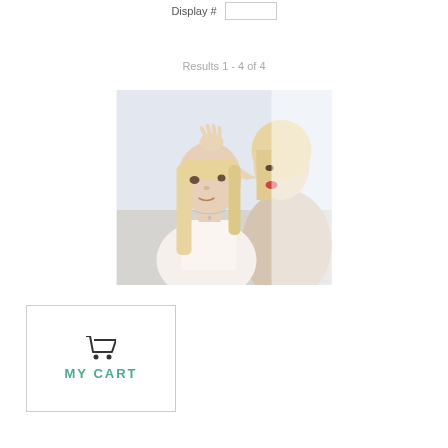Display #
Results 1 - 4 of 4
[Figure (photo): A woman examining a young blonde girl's hair, possibly checking for lice. The woman has blonde hair and an open mouth expression. The girl looks downward. White/light background.]
MY CART